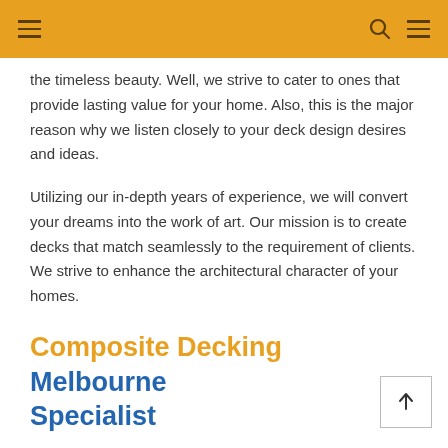Navigation header with hamburger menus and search icon on orange background
the timeless beauty. Well, we strive to cater to ones that provide lasting value for your home. Also, this is the major reason why we listen closely to your deck design desires and ideas.
Utilizing our in-depth years of experience, we will convert your dreams into the work of art. Our mission is to create decks that match seamlessly to the requirement of clients. We strive to enhance the architectural character of your homes.
Composite Decking Melbourne Specialist